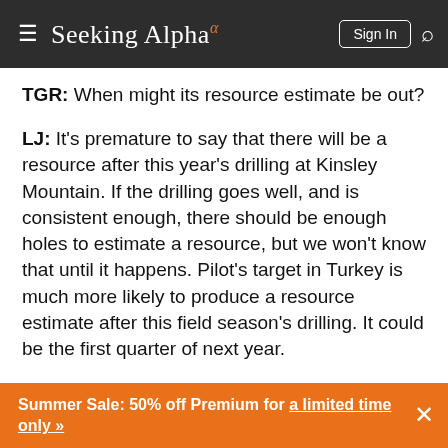Seeking Alpha
TGR: When might its resource estimate be out?
LJ: It's premature to say that there will be a resource after this year's drilling at Kinsley Mountain. If the drilling goes well, and is consistent enough, there should be enough holes to estimate a resource, but we won't know that until it happens. Pilot's target in Turkey is much more likely to produce a resource estimate after this field season's drilling. It could be the first quarter of next year.
TGR: Closer to home, what are some companies in
Summer Sale: 50% off Premium for a limited time only »